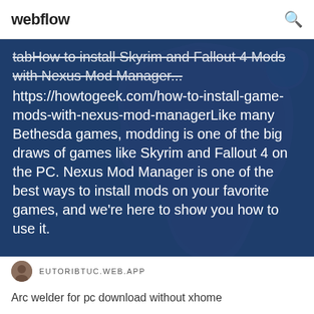webflow
[Figure (screenshot): Dark blue background with stylized Africa map silhouette in slightly lighter blue]
tabHow to install Skyrim and Fallout 4 Mods with Nexus Mod Manager... https://howtogeek.com/how-to-install-game-mods-with-nexus-mod-managerLike many Bethesda games, modding is one of the big draws of games like Skyrim and Fallout 4 on the PC. Nexus Mod Manager is one of the best ways to install mods on your favorite games, and we're here to show you how to use it.
EUTORIBTUC.WEB.APP
Arc welder for pc download without xhome